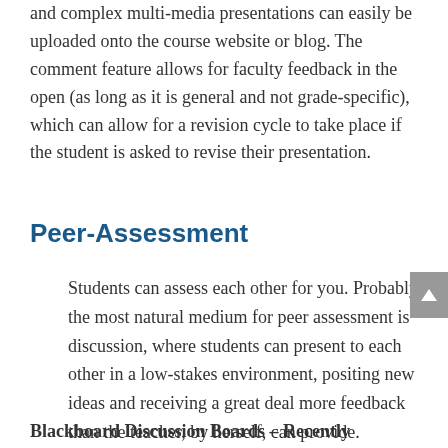and complex multi-media presentations can easily be uploaded onto the course website or blog. The comment feature allows for faculty feedback in the open (as long as it is general and not grade-specific), which can allow for a revision cycle to take place if the student is asked to revise their presentation.
Peer-Assessment
Students can assess each other for you. Probably the most natural medium for peer assessment is discussion, where students can present to each other in a low-stakes environment, positing new ideas and receiving a great deal more feedback than the teacher, by herself, can provide.
Blackboard Discussion Boards – Recently